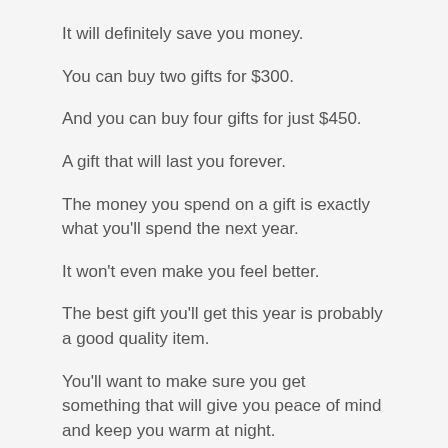It will definitely save you money.
You can buy two gifts for $300.
And you can buy four gifts for just $450.
A gift that will last you forever.
The money you spend on a gift is exactly what you'll spend the next year.
It won't even make you feel better.
The best gift you'll get this year is probably a good quality item.
You'll want to make sure you get something that will give you peace of mind and keep you warm at night.
You shouldn't want to miss this year's Christmas deals...